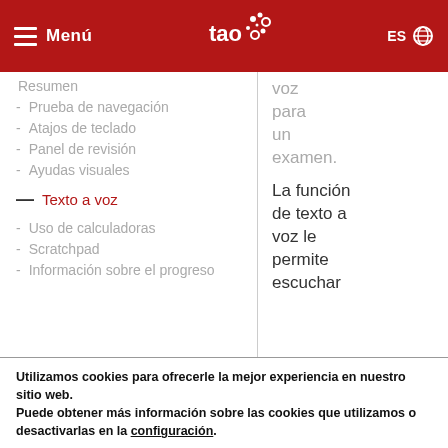Menú | tao | ES
Resumen
- Prueba de navegación
- Atajos de teclado
- Panel de revisión
- Ayudas visuales
— Texto a voz
- Uso de calculadoras
- Scratchpad
- Información sobre el progreso
voz para un examen.
La función de texto a voz le permite escuchar
Utilizamos cookies para ofrecerle la mejor experiencia en nuestro sitio web. Puede obtener más información sobre las cookies que utilizamos o desactivarlas en la configuración.